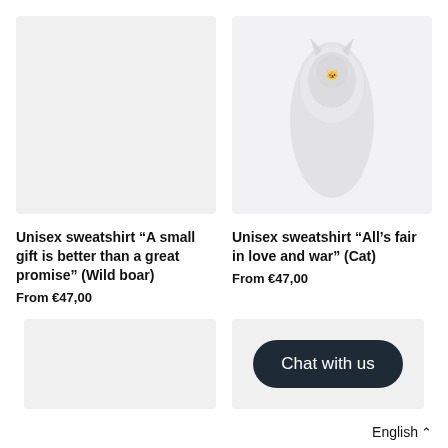[Figure (photo): Product image placeholder for wild boar sweatshirt - light gray rectangle]
[Figure (photo): Product image of white sweatshirt with cat design on light gray background]
Unisex sweatshirt "A small gift is better than a great promise" (Wild boar)
From €47,00
Unisex sweatshirt "All's fair in love and war" (Cat)
From €47,00
[Figure (photo): Product image placeholder - light gray rectangle bottom left]
[Figure (screenshot): Chat with us button overlay on light gray product image background]
English